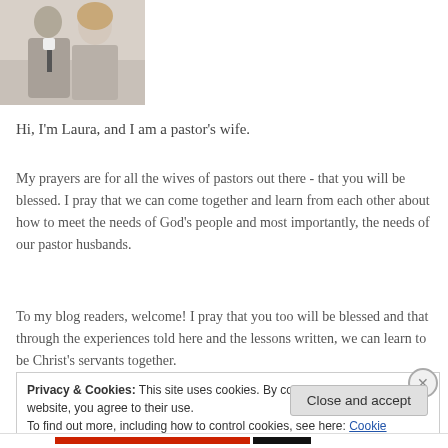[Figure (photo): Photo of a man and woman, pastor and wife, cropped at top of page]
Hi, I'm Laura, and I am a pastor's wife.
My prayers are for all the wives of pastors out there - that you will be blessed. I pray that we can come together and learn from each other about how to meet the needs of God's people and most importantly, the needs of our pastor husbands.
To my blog readers, welcome! I pray that you too will be blessed and that through the experiences told here and the lessons written, we can learn to be Christ's servants together.
Privacy & Cookies: This site uses cookies. By continuing to use this website, you agree to their use.
To find out more, including how to control cookies, see here: Cookie Policy
Close and accept